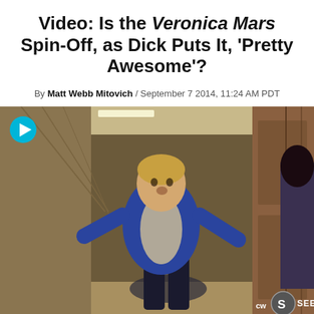Video: Is the Veronica Mars Spin-Off, as Dick Puts It, 'Pretty Awesome'?
By Matt Webb Mitovich / September 7 2014, 11:24 AM PDT
[Figure (screenshot): Video thumbnail showing a man in a blue blazer and grey t-shirt walking/gesturing in a hotel corridor, with CW Seed logo in the bottom right corner and a play button in the top left corner.]